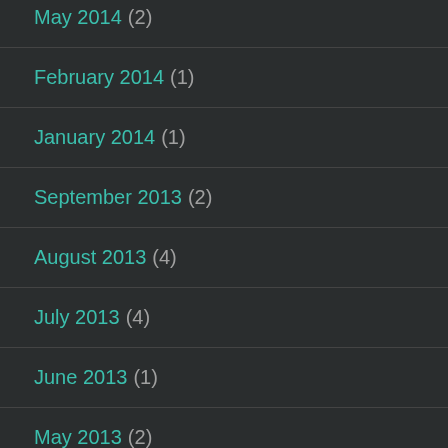May 2014 (2)
February 2014 (1)
January 2014 (1)
September 2013 (2)
August 2013 (4)
July 2013 (4)
June 2013 (1)
May 2013 (2)
April 2013 (6)